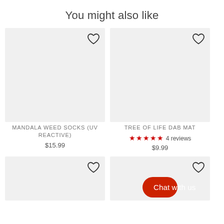You might also like
[Figure (photo): Product image placeholder for Mandala Weed Socks (UV Reactive), light gray background with heart icon]
MANDALA WEED SOCKS (UV REACTIVE)
$15.99
[Figure (photo): Product image placeholder for Tree of Life Dab Mat, light gray background with heart icon]
TREE OF LIFE DAB MAT
4 reviews
$9.99
[Figure (photo): Product image placeholder bottom left, light gray background with heart icon]
[Figure (photo): Product image placeholder bottom right, light gray background with heart icon and Chat with us button]